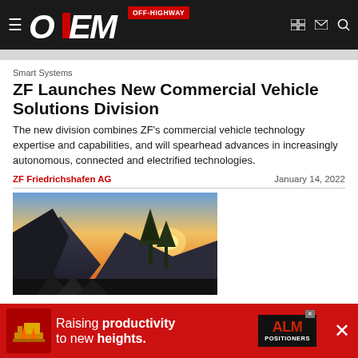OEM OFF-HIGHWAY
Smart Systems
ZF Launches New Commercial Vehicle Solutions Division
The new division combines ZF's commercial vehicle technology expertise and capabilities, and will spearhead advances in increasingly autonomous, connected and electrified technologies.
ZF Friedrichshafen AG    January 14, 2022
[Figure (photo): Outdoor scenic landscape scene showing a mountain valley with trees and sunset sky, partially visible as a thumbnail image for the article.]
[Figure (advertisement): Red banner advertisement for ALM Positioners: 'Raising productivity to new heights.']